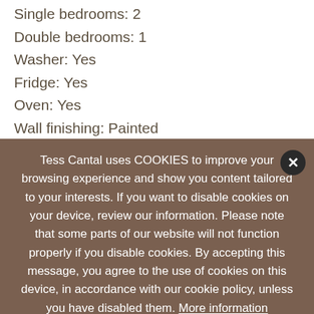Single bedrooms: 2
Double bedrooms: 1
Washer: Yes
Fridge: Yes
Oven: Yes
Wall finishing: Painted
Soils: Stoneware
Bathrooms: 1
Tess Cantal uses COOKIES to improve your browsing experience and show you content tailored to your interests. If you want to disable cookies on your device, review our information. Please note that some parts of our website will not function properly if you disable cookies. By accepting this message, you agree to the use of cookies on this device, in accordance with our cookie policy, unless you have disabled them. More information